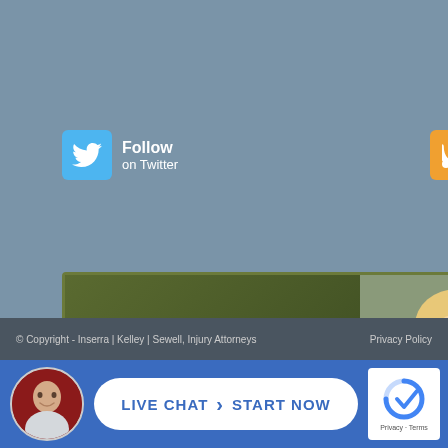[Figure (logo): Twitter Follow button with blue bird icon and 'Follow on Twitter' text]
[Figure (logo): RSS Subscribe button with orange RSS icon and 'Subscribe to RSS Feed' text]
[Figure (illustration): 24x7 Live Chat banner with 'Click here to CHAT NOW! ONLINE' text and image of woman with headset]
© Copyright - Inserra | Kelley | Sewell, Injury Attorneys   Privacy Policy
[Figure (infographic): Live Chat Start Now bar at the bottom with attorney photo, white pill button saying LIVE CHAT > START NOW, and reCAPTCHA logo]